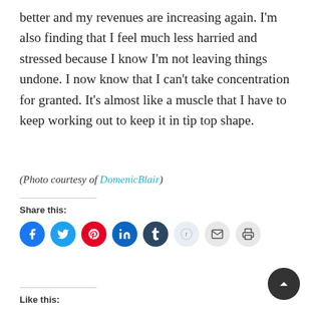better and my revenues are increasing again. I'm also finding that I feel much less harried and stressed because I know I'm not leaving things undone. I now know that I can't take concentration for granted. It's almost like a muscle that I have to keep working out to keep it in tip top shape.
(Photo courtesy of DomenicBlair)
Share this:
[Figure (other): Social share icons: Facebook, Twitter, Pinterest, LinkedIn, Tumblr, Reddit, Email, Print]
Like this: